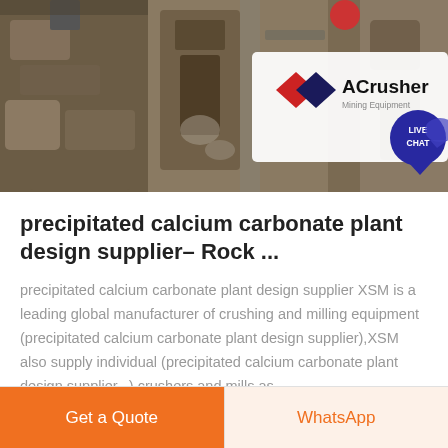[Figure (photo): Industrial mining/crushing equipment photo with ACrusher Mining Equipment logo overlay and LIVE CHAT bubble in top right corner]
precipitated calcium carbonate plant design supplier– Rock ...
precipitated calcium carbonate plant design supplier XSM is a leading global manufacturer of crushing and milling equipment (precipitated calcium carbonate plant design supplier),XSM also supply individual (precipitated calcium carbonate plant design supplier...) crushers and mills as .